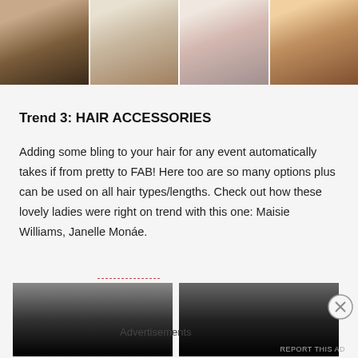[Figure (photo): A strip of four celebrity photos showing women with updo hairstyles at a red carpet event]
Trend 3: HAIR ACCESSORIES
Adding some bling to your hair for any event automatically takes if from pretty to FAB! Here too are so many options plus can be used on all hair types/lengths. Check out how these lovely ladies were right on trend with this one: Maisie Williams, Janelle Monáe.
[Figure (photo): Two photos at the bottom showing women with hair accessories, partially visible]
Advertisements